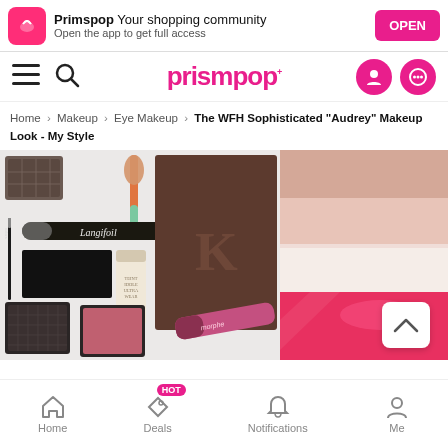Primspop Your shopping community — Open the app to get full access — OPEN
prismpop — navigation bar with hamburger, search, user, and chat icons
Home > Makeup > Eye Makeup > The WFH Sophisticated "Audrey" Makeup Look - My Style
[Figure (photo): Flat lay photo of makeup products including brushes, mascara, foundation, blush palettes, lip gloss, and color swatches on the right side.]
Home  Deals (HOT)  Notifications  Me